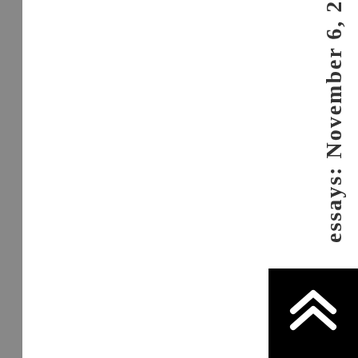essays: November 6, 2
[Figure (other): Scroll-to-top button with double upward chevron arrows on black background, located in bottom-right corner]